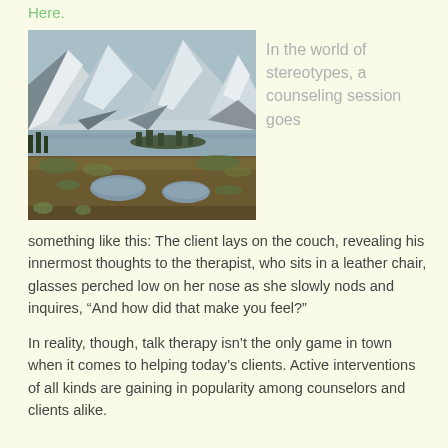Here.
[Figure (photo): Landscape photo of snow-capped mountains with a fjord, evergreen trees, and a marshy meadow with small ponds in the foreground.]
In the world of stereotypes, a counseling session goes something like this: The client lays on the couch, revealing his innermost thoughts to the therapist, who sits in a leather chair, glasses perched low on her nose as she slowly nods and inquires, “And how did that make you feel?”
In reality, though, talk therapy isn’t the only game in town when it comes to helping today’s clients. Active interventions of all kinds are gaining in popularity among counselors and clients alike.